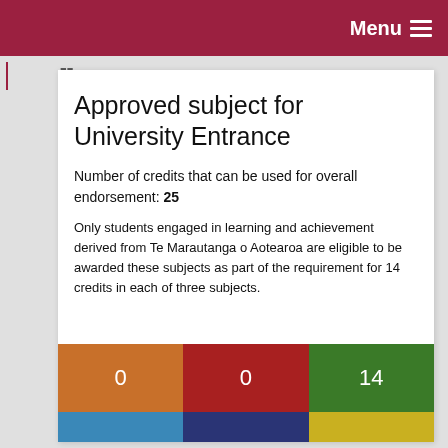Menu
Approved subject for University Entrance
Number of credits that can be used for overall endorsement: 25
Only students engaged in learning and achievement derived from Te Marautanga o Aotearoa are eligible to be awarded these subjects as part of the requirement for 14 credits in each of three subjects.
[Figure (other): Three colored boxes in a row showing values 0, 0, and 14 in orange, red, and green respectively, followed by a partial second row of blue, navy, and yellow boxes.]